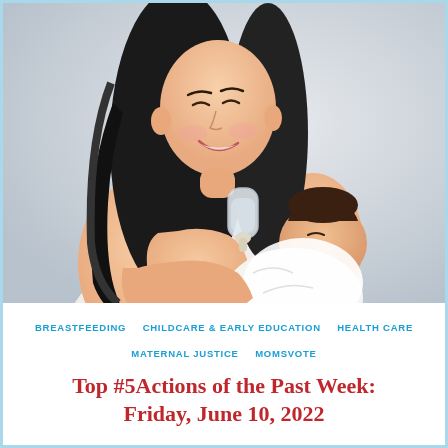[Figure (photo): Young Asian woman smiling and bottle-feeding a newborn baby wrapped in white cloth, light gray background]
BREASTFEEDING   CHILDCARE & EARLY EDUCATION   HEALTH CARE   MATERNAL JUSTICE   MOMSVOTE
Top #5Actions of the Past Week: Friday, June 10, 2022